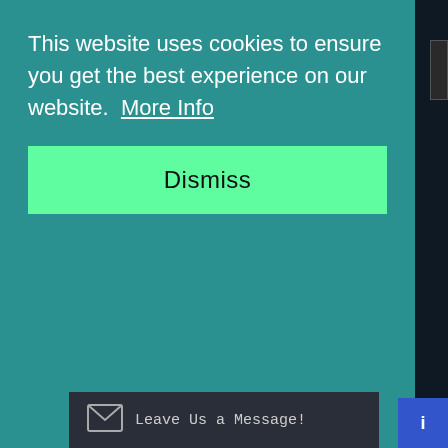This website uses cookies to ensure you get the best experience on our website.  More Info
Dismiss
PRODUCTS
Email Organizer
Email Merge
Outlook Addins
Corporate Sales
Uninstall Information
End User License Agreement(EULA)
Leave Us a Message!